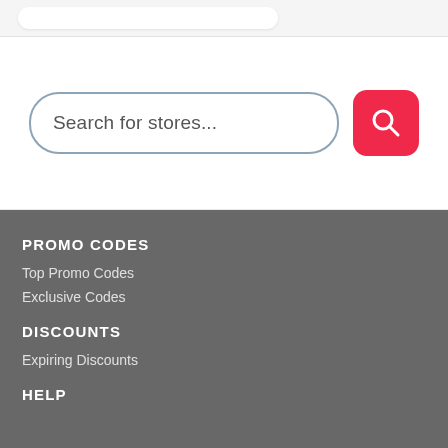[Figure (screenshot): Top navigation bar with a white rounded search input on a light gray background]
Search for stores...
PROMO CODES
Top Promo Codes
Exclusive Codes
DISCOUNTS
Expiring Discounts
HELP